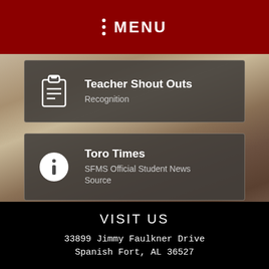MENU
Teacher Shout Outs — Recognition
Toro Times — SFMS Official Student News Source
VISIT US
33899 Jimmy Faulkner Drive
Spanish Fort, AL 36527